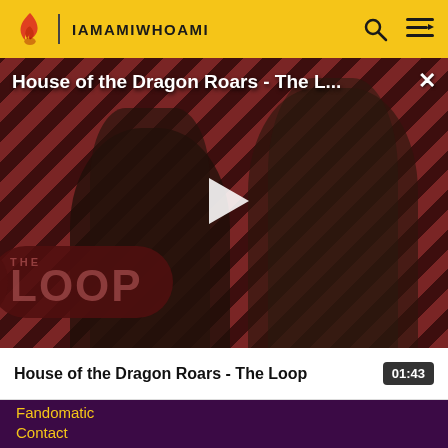IAMAMIWHOAMI
[Figure (screenshot): Video thumbnail for 'House of the Dragon Roars - The Loop' showing two characters against a diagonal red and dark stripe background with 'THE LOOP' logo and a white play button in the center. Title overlay reads 'House of the Dragon Roars - The L...' with a close X button.]
House of the Dragon Roars - The Loop   01:43
Fandomatic
Contact